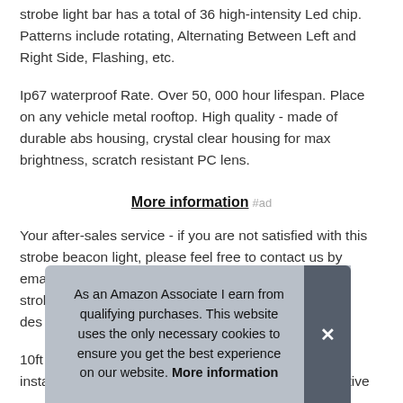strobe light bar has a total of 36 high-intensity Led chip. Patterns include rotating, Alternating Between Left and Right Side, Flashing, etc.
Ip67 waterproof Rate. Over 50, 000 hour lifespan. Place on any vehicle metal rooftop. High quality - made of durable abs housing, crystal clear housing for max brightness, scratch resistant PC lens.
More information #ad
Your after-sales service - if you are not satisfied with this strobe beacon light, please feel free to contact us by email. Able to withstand harsh weather conditions. 15 strobe flash patt... des...
10ft... install - 2 pods with a total of 10 magnets, with protective
As an Amazon Associate I earn from qualifying purchases. This website uses the only necessary cookies to ensure you get the best experience on our website. More information